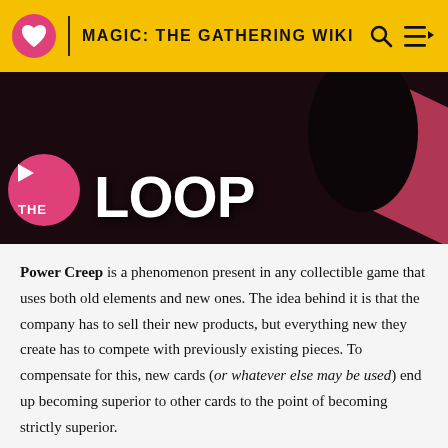MAGIC: THE GATHERING WIKI
[Figure (screenshot): Banner image showing 'THE LOOP' branding on a dark background with diagonal pink/red stripe pattern]
Power Creep is a phenomenon present in any collectible game that uses both old elements and new ones. The idea behind it is that the company has to sell their new products, but everything new they create has to compete with previously existing pieces. To compensate for this, new cards (or whatever else may be used) end up becoming superior to other cards to the point of becoming strictly superior.
For example, compare Pearled Unicorn with Ronom Unicorn. Both have the same power, toughness, color, and